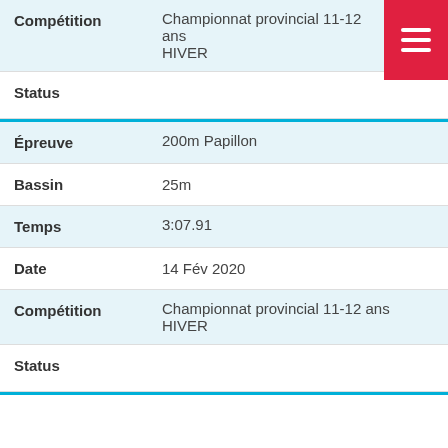| Field | Value |
| --- | --- |
| Compétition | Championnat provincial 11-12 ans HIVER |
| Status |  |
| Épreuve | 200m Papillon |
| Bassin | 25m |
| Temps | 3:07.91 |
| Date | 14 Fév 2020 |
| Compétition | Championnat provincial 11-12 ans HIVER |
| Status |  |